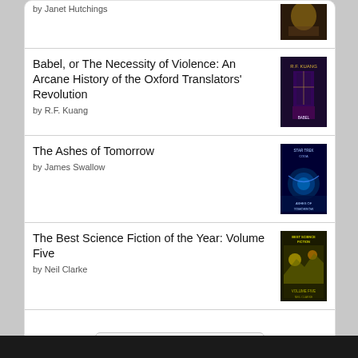by Janet Hutchings
Babel, or The Necessity of Violence: An Arcane History of the Oxford Translators' Revolution
by R.F. Kuang
The Ashes of Tomorrow
by James Swallow
The Best Science Fiction of the Year: Volume Five
by Neil Clarke
[Figure (logo): Goodreads logo button with rounded rectangle border]